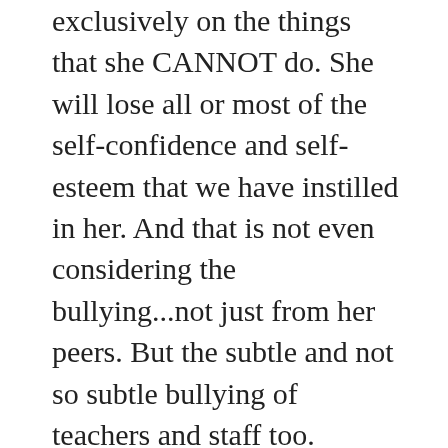exclusively on the things that she CANNOT do. She will lose all or most of the self-confidence and self-esteem that we have instilled in her. And that is not even considering the bullying...not just from her peers. But the subtle and not so subtle bullying of teachers and staff too.
That is the reality of schools. Not just in Wales or the UK, but the US...and much of the world. They are not places where #LittleHumans go to learn. But to be broken. Few #LittleHumans, or big ones, thrive in that restrictive environment.
Instead #RadiCoolUnschooling has created